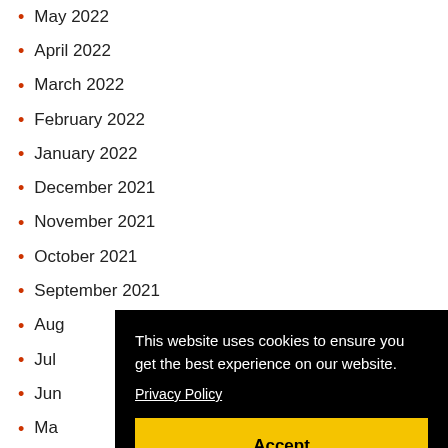May 2022
April 2022
March 2022
February 2022
January 2022
December 2021
November 2021
October 2021
September 2021
August 2021
July 2021
June 2021
May 2021
April 2021
March 2021
February 2021
January 2021
This website uses cookies to ensure you get the best experience on our website. Privacy Policy Accept